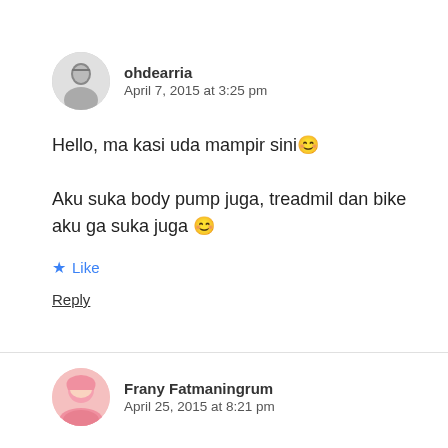[Figure (photo): Black and white avatar photo of user ohdearria]
ohdearria
April 7, 2015 at 3:25 pm
Hello, ma kasi uda mampir sini 😀

Aku suka body pump juga, treadmil dan bike aku ga suka juga 😀
★ Like
Reply
[Figure (photo): Avatar photo of Frany Fatmaningrum wearing pink hijab]
Frany Fatmaningrum
April 25, 2015 at 8:21 pm